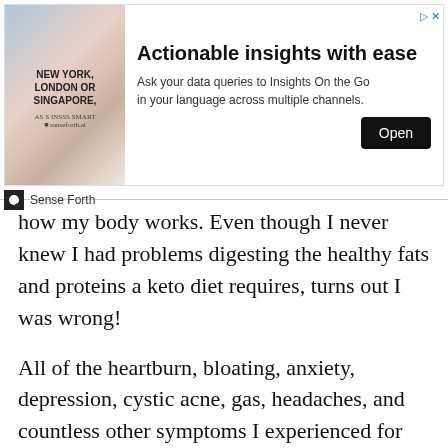[Figure (other): Advertisement banner for Sense Forth: 'Actionable insights with ease. Ask your data queries to Insights On the Go in your language across multiple channels.' with Open button and background image of a man with NEW YORK, LONDON OR SINGAPORE text.]
how my body works. Even though I never knew I had problems digesting the healthy fats and proteins a keto diet requires, turns out I was wrong!
All of the heartburn, bloating, anxiety, depression, cystic acne, gas, headaches, and countless other symptoms I experienced for decades were mostly due to not digesting my food properly. Oh, and let’s not forget non-stop yo-yoing weight, because that’s a result of poor digestion too.